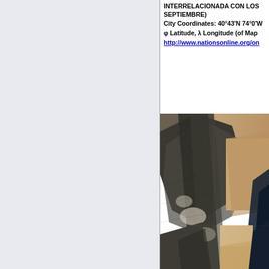INTERRELACIONADA CON LOS SEPTIEMBRE) City Coordinates: 40°43'N 74°0'W φ Latitude, λ Longitude (of Map http://www.nationsonline.org/on
[Figure (photo): Satellite imagery showing arid, mountainous terrain with rocky ridges, valleys, and coastal water visible on the right side. The image shows a patchwork of different satellite image tiles with varying colors from dark grey/black to tan/brown tones.]